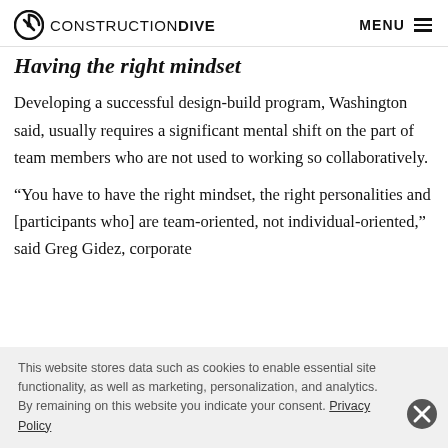CONSTRUCTION DIVE  MENU
Having the right mindset
Developing a successful design-build program, Washington said, usually requires a significant mental shift on the part of team members who are not used to working so collaboratively.
“You have to have the right mindset, the right personalities and [participants who] are team-oriented, not individual-oriented,” said Greg Gidez, corporate
This website stores data such as cookies to enable essential site functionality, as well as marketing, personalization, and analytics. By remaining on this website you indicate your consent. Privacy Policy